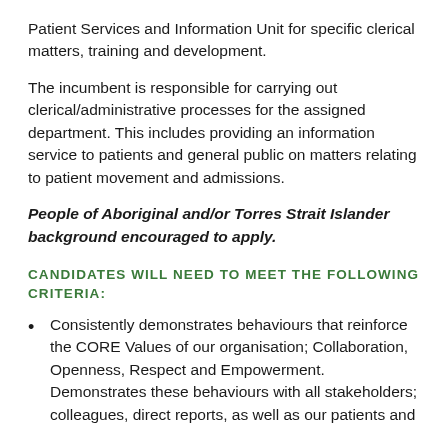Patient Services and Information Unit for specific clerical matters, training and development.
The incumbent is responsible for carrying out clerical/administrative processes for the assigned department. This includes providing an information service to patients and general public on matters relating to patient movement and admissions.
People of Aboriginal and/or Torres Strait Islander background encouraged to apply.
CANDIDATES WILL NEED TO MEET THE FOLLOWING CRITERIA:
Consistently demonstrates behaviours that reinforce the CORE Values of our organisation; Collaboration, Openness, Respect and Empowerment. Demonstrates these behaviours with all stakeholders; colleagues, direct reports, as well as our patients and